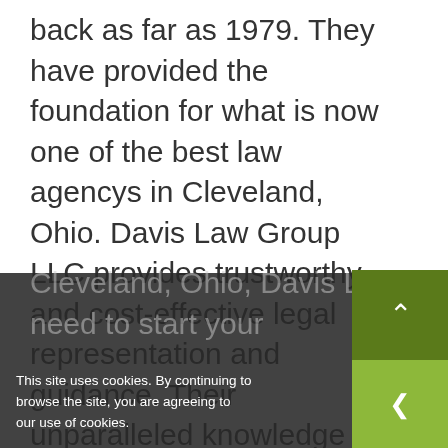back as far as 1979. They have provided the foundation for what is now one of the best law agencys in Cleveland, Ohio. Davis Law Group LLC provides trustworthy and cost-effective legal representation and guidance. Their unparalleled knowledge and expertise has earned them a collection of loyal, long-term clients who, to this day, seek the guidance of the agency's expert business attorneys.
If you are looking for a business attorney in Cleveland, Ohio, Davis Law Group has the skills you need to start your
This site uses cookies. By continuing to browse the site, you are agreeing to our use of cookies.